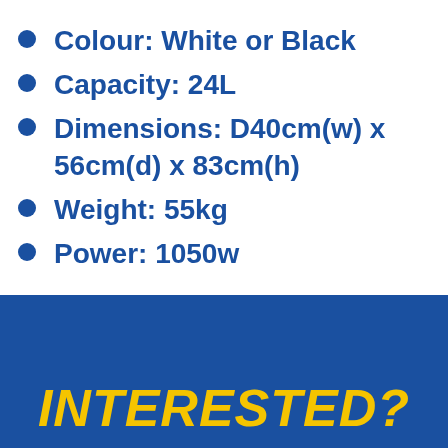Colour: White or Black
Capacity: 24L
Dimensions: D40cm(w) x 56cm(d) x 83cm(h)
Weight: 55kg
Power: 1050w
INTERESTED?